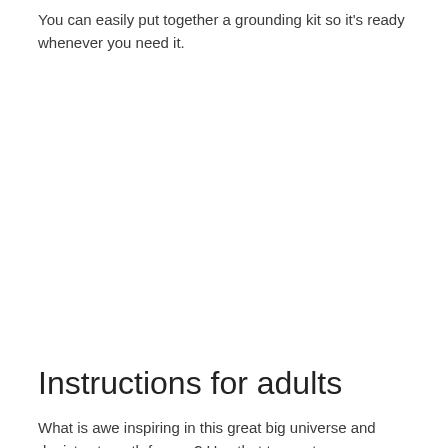You can easily put together a grounding kit so it's ready whenever you need it.
Instructions for adults
What is awe inspiring in this great big universe and depicts strength for you? Use that to create your personal Grounding Kit. Some physical items can include: